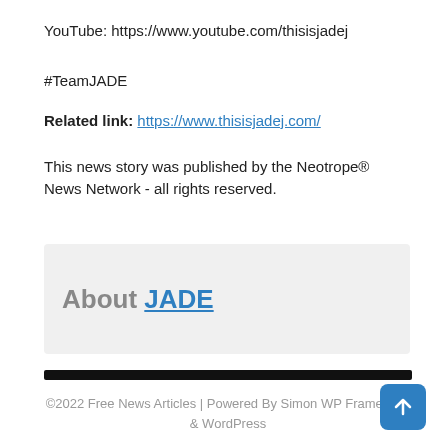YouTube: https://www.youtube.com/thisisjadej
#TeamJADE
Related link: https://www.thisisjadej.com/
This news story was published by the Neotrope® News Network - all rights reserved.
About JADE
©2022 Free News Articles | Powered By Simon WP Framework & WordPress